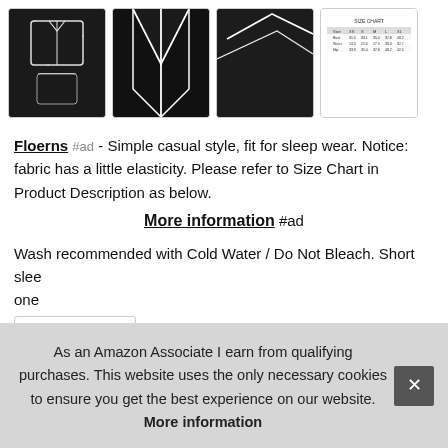[Figure (photo): Four product thumbnail images of black pajama set. First shows full set (top + shorts), second shows close-up of top front, third shows close-up of back/fabric, fourth shows a size chart table.]
Floerns #ad - Simple casual style, fit for sleep wear. Notice: fabric has a little elasticity. Please refer to Size Chart in Product Description as below.
More information #ad
Wash recommended with Cold Water / Do Not Bleach. Short slee one
As an Amazon Associate I earn from qualifying purchases. This website uses the only necessary cookies to ensure you get the best experience on our website. More information